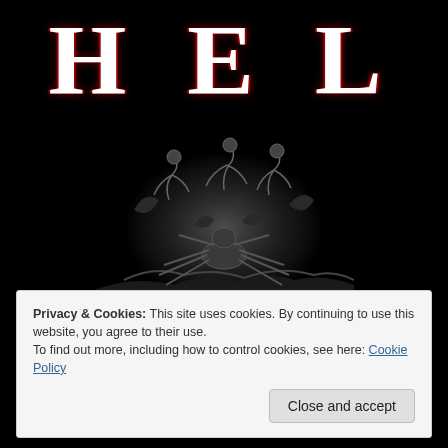HELL
[Figure (illustration): Dark engraving-style illustration showing tormented figures in Hell, with a large spider-like creature in the foreground and agonized human figures in the background, rendered in dark grays on black.]
Privacy & Cookies: This site uses cookies. By continuing to use this website, you agree to their use.
To find out more, including how to control cookies, see here: Cookie Policy
Close and accept